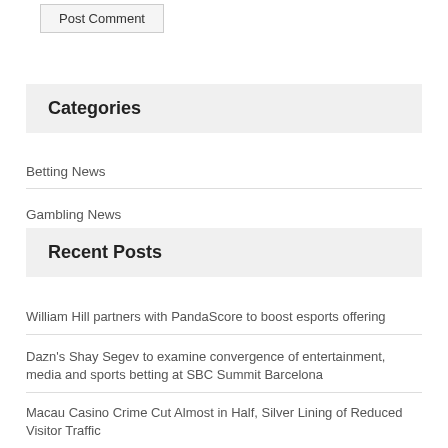Post Comment
Categories
Betting News
Gambling News
Recent Posts
William Hill partners with PandaScore to boost esports offering
Dazn's Shay Segev to examine convergence of entertainment, media and sports betting at SBC Summit Barcelona
Macau Casino Crime Cut Almost in Half, Silver Lining of Reduced Visitor Traffic
California Sports Betting Update: Dueling Ads Released on Prop 27 (VIDEO)